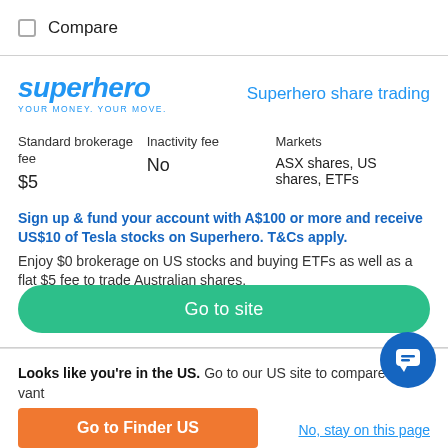Compare
[Figure (logo): Superhero logo with tagline YOUR MONEY. YOUR MOVE.]
Superhero share trading
| Standard brokerage fee | Inactivity fee | Markets |
| --- | --- | --- |
| $5 | No | ASX shares, US shares, ETFs |
Sign up & fund your account with A$100 or more and receive US$10 of Tesla stocks on Superhero. T&Cs apply. Enjoy $0 brokerage on US stocks and buying ETFs as well as a flat $5 fee to trade Australian shares.
Go to site
Looks like you're in the US. Go to our US site to compare relevant products for your country.
Go to Finder US
No, stay on this page